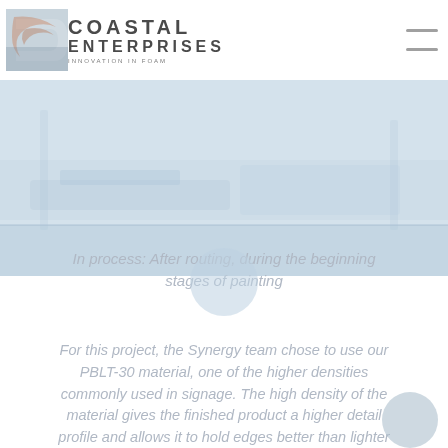[Figure (logo): Coastal Enterprises logo with stylized C graphic and company name 'COASTAL ENTERPRISES' with tagline below]
[Figure (photo): A faded/washed-out photograph showing an in-process routing or machining operation, very light blue-grey tones]
In process: After routing, during the beginning stages of painting
For this project, the Synergy team chose to use our PBLT-30 material, one of the higher densities commonly used in signage. The high density of the material gives the finished product a higher detail profile and allows it to hold edges better than lighter